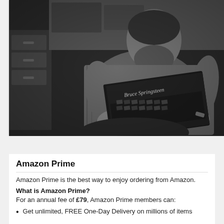[Figure (photo): Black and white photograph of a bearded man in a denim shirt sitting and holding open a large book or album, with text 'Bruce Springsteen' visible on the cover. Filing cabinets visible in background.]
Amazon Prime
Amazon Prime is the best way to enjoy ordering from Amazon.
What is Amazon Prime?
For an annual fee of £79, Amazon Prime members can:
Get unlimited, FREE One-Day Delivery on millions of items